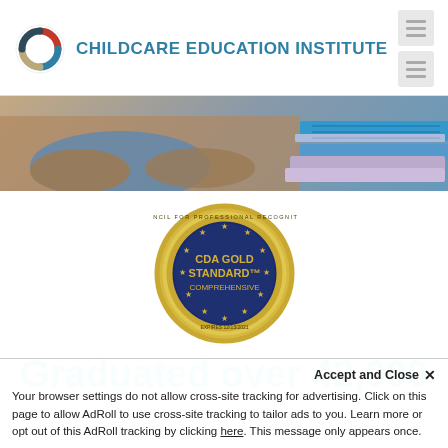[Figure (logo): ChildCare Education Institute logo with circular icon and text]
[Figure (photo): Hero image showing person sitting with books/notebooks]
[Figure (illustration): CDA Gold Standard Comprehensive badge/seal from Council for Professional Recognition, expires 12/13/2021]
Graduated over 42,000
Accept and Close ×
Your browser settings do not allow cross-site tracking for advertising. Click on this page to allow AdRoll to use cross-site tracking to tailor ads to you. Learn more or opt out of this AdRoll tracking by clicking here. This message only appears once.